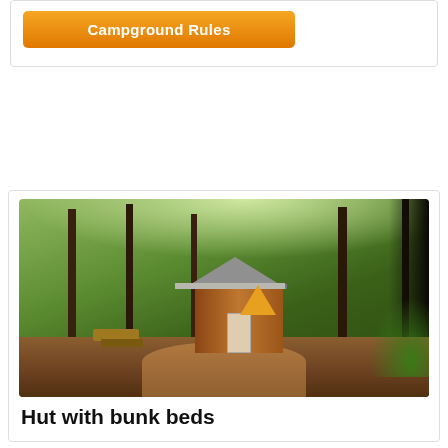[Figure (other): Orange gradient button labeled 'Campground Rules']
[Figure (photo): Photograph of a small wooden hut/cabin with a metal roof surrounded by tall conifer trees, with a picnic table and a yellow tent visible in the background, set on a dirt path in a forested campground.]
Hut with bunk beds